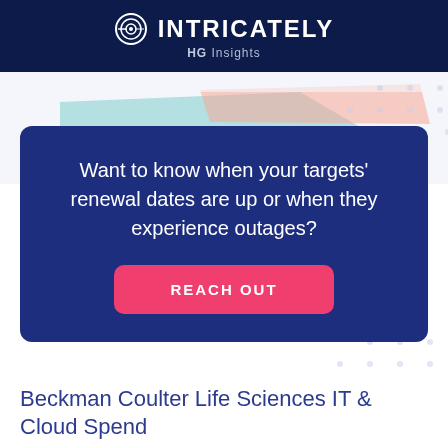INTRICATELY HG Insights
[Figure (other): Partial bar or area chart visible behind the CTA card, showing teal/blue and pink/salmon colored shapes against a light background]
Want to know when your targets' renewal dates are up or when they experience outages?
REACH OUT
Beckman Coulter Life Sciences IT & Cloud Spend